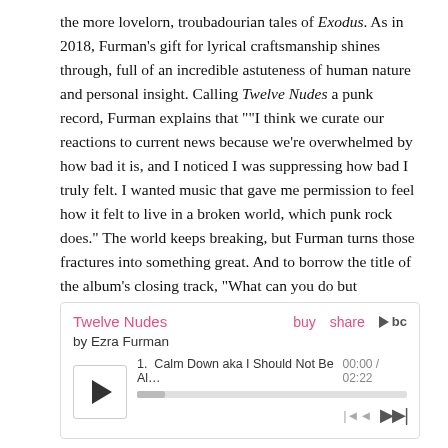the more lovelorn, troubadourian tales of Exodus. As in 2018, Furman's gift for lyrical craftsmanship shines through, full of an incredible astuteness of human nature and personal insight. Calling Twelve Nudes a punk record, Furman explains that ""I think we curate our reactions to current news because we're overwhelmed by how bad it is, and I noticed I was suppressing how bad I truly felt. I wanted music that gave me permission to feel how it felt to live in a broken world, which punk rock does." The world keeps breaking, but Furman turns those fractures into something great. And to borrow the title of the album's closing track, "What can you do but rock'n'roll?"
[Figure (other): Bandcamp embedded music player for 'Twelve Nudes' by Ezra Furman. Shows album title in pink, buy/share links, bandcamp logo, artist name 'by Ezra Furman', a play button, track 1 'Calm Down aka I Should Not Be Al...' with timestamp 00:00 / 02:22, a progress bar, and skip-forward controls.]